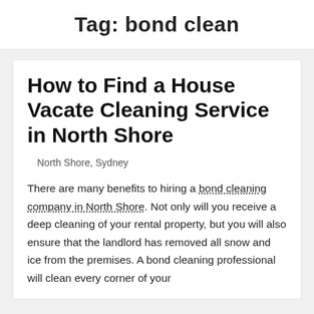Tag: bond clean
How to Find a House Vacate Cleaning Service in North Shore
North Shore, Sydney
There are many benefits to hiring a bond cleaning company in North Shore. Not only will you receive a deep cleaning of your rental property, but you will also ensure that the landlord has removed all snow and ice from the premises. A bond cleaning professional will clean every corner of your